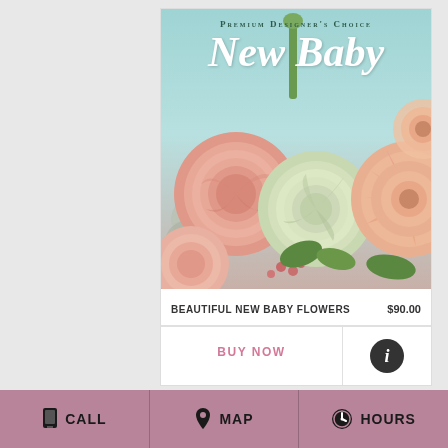[Figure (photo): Product card showing 'New Baby' premium designer's choice flower arrangement. The image features pink ranunculus, a white/green rose, peach gerbera daisies, and silvery dusty miller foliage against a soft teal/mint background. Text overlay reads 'Premium Designer's Choice' and 'New Baby' in large white script.]
BEAUTIFUL NEW BABY FLOWERS    $90.00
BUY NOW
CALL    MAP    HOURS